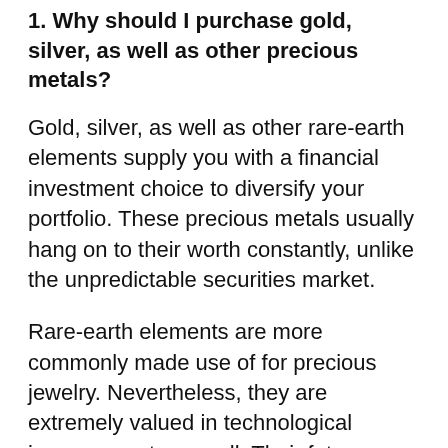1. Why should I purchase gold, silver, as well as other precious metals?
Gold, silver, as well as other rare-earth elements supply you with a financial investment choice to diversify your portfolio. These precious metals usually hang on to their worth constantly, unlike the unpredictable securities market.
Rare-earth elements are more commonly made use of for precious jewelry. Nevertheless, they are extremely valued in technological improvements as well. Their future value will continue to enhance.
Putting your cash in gold, silver, and various other precious metals will safeguard you